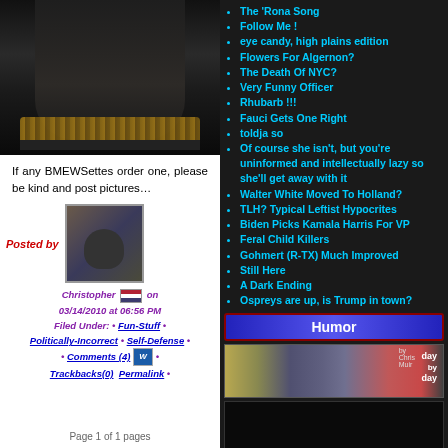[Figure (photo): Photo of person wearing black outfit with ammunition belt, cropped view of torso/lower body]
If any BMEWSettes order one, please be kind and post pictures…
[Figure (photo): Avatar/profile photo of Christopher - man with glasses and beard in a vehicle]
Posted by Christopher on 03/14/2010 at 06:56 PM Filed Under: • Fun-Stuff • Politically-Incorrect • Self-Defense • • Comments (4) • Trackbacks(0) Permalink •
Page 1 of 1 pages
The 'Rona Song
Follow Me !
eye candy, high plains edition
Flowers For Algernon?
The Death Of NYC?
Very Funny Officer
Rhubarb !!!
Fauci Gets One Right
toldja so
Of course she isn't, but you're uninformed and intellectually lazy so she'll get away with it
Walter White Moved To Holland?
TLH? Typical Leftist Hypocrites
Biden Picks Kamala Harris For VP
Feral Child Killers
Gohmert (R-TX) Much Improved
Still Here
A Dark Ending
Ospreys are up, is Trump in town?
Humor
[Figure (illustration): Day by Day comic strip banner showing illustrated characters]